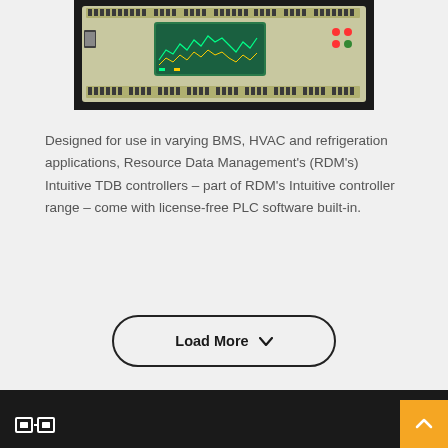[Figure (photo): Photo of an industrial BMS/HVAC controller circuit board (RDM Intuitive TDB controller) with green PCB, terminal blocks, display screen showing a graph, and various connectors.]
Designed for use in varying BMS, HVAC and refrigeration applications, Resource Data Management's (RDM's) Intuitive TDB controllers – part of RDM's Intuitive controller range – come with license-free PLC software built-in.
Load More